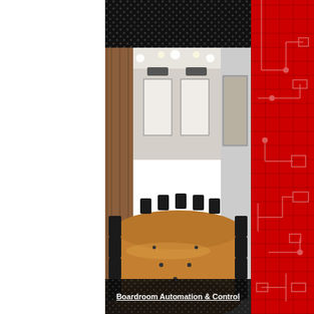[Figure (photo): Professional boardroom with long wooden conference table, black leather chairs, projection screens at far end, recessed ceiling lights, wood-paneled walls]
Boardroom Automation & Control
[Figure (photo): Blurred photo of a room interior with red and blue elements, appears to be another venue or equipment room]